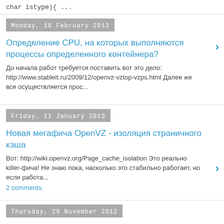char istype){ ...
Monday, 18 February 2013
Определение CPU, на которых выполняются процессы определенного контейнера?
До начала работ требуется поставить вот это дело: http://www.stableit.ru/2009/12/openvz-vztop-vzps.html Далее же все осуществляется прос...
Friday, 11 January 2013
Новая мегафича OpenVZ - изоляция страничного кэша
Вот:  http://wiki.openvz.org/Page_cache_isolation Это реально killer-фича! Не знаю пока, насколько это стабильно работает, но если работа...
2 comments:
Thursday, 29 November 2012
Популярно о ploop от